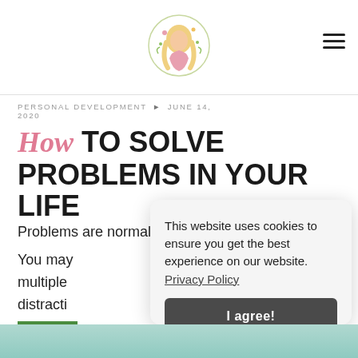[Figure (logo): Circular blog logo with illustrated woman with long blonde hair wearing a pink top, surrounded by floral wreath design]
PERSONAL DEVELOPMENT ▶ JUNE 14, 2020
HOW TO SOLVE PROBLEMS IN YOUR LIFE
Problems are normal and will always be there. You may have multiple problems, distractions, better y...
This website uses cookies to ensure you get the best experience on our website. Privacy Policy
I agree!